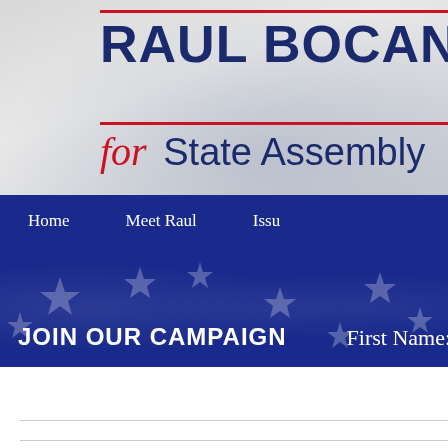RAUL BOCANEGRA for State Assembly
Home   Meet Raul   Issues
JOIN OUR CAMPAIGN
First Name: *